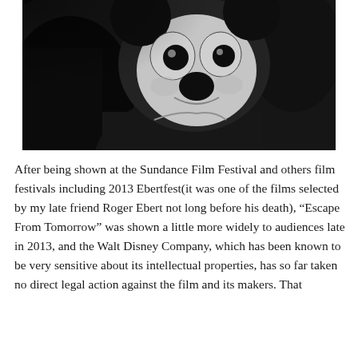[Figure (photo): Black and white photograph of a Mickey Mouse character costume/mascot wearing a suit with a bow tie, shown in close-up from below at an angle.]
After being shown at the Sundance Film Festival and others film festivals including 2013 Ebertfest(it was one of the films selected by my late friend Roger Ebert not long before his death), “Escape From Tomorrow” was shown a little more widely to audiences late in 2013, and the Walt Disney Company, which has been known to be very sensitive about its intellectual properties, has so far taken no direct legal action against the film and its makers. That